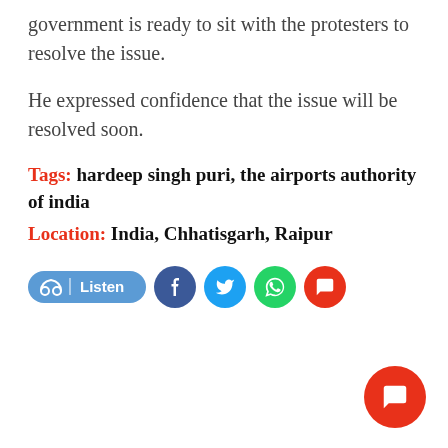government is ready to sit with the protesters to resolve the issue.
He expressed confidence that the issue will be resolved soon.
Tags: hardeep singh puri, the airports authority of india
Location: India, Chhatisgarh, Raipur
[Figure (infographic): Social sharing bar with Listen button, Facebook, Twitter, WhatsApp, and comment buttons]